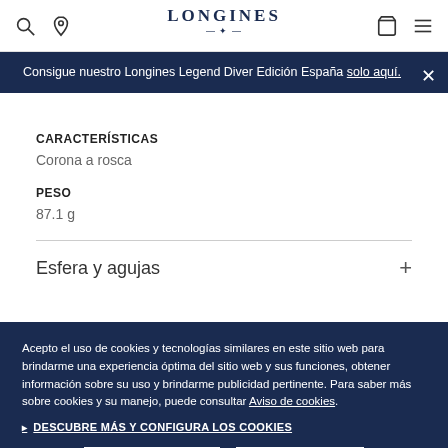LONGINES
Consigue nuestro Longines Legend Diver Edición España solo aquí.
CARACTERÍSTICAS
Corona a rosca
PESO
87.1 g
Esfera y agujas
Acepto el uso de cookies y tecnologías similares en este sitio web para brindarme una experiencia óptima del sitio web y sus funciones, obtener información sobre su uso y brindarme publicidad pertinente. Para saber más sobre cookies y su manejo, puede consultar Aviso de cookies.
DESCUBRE MÁS Y CONFIGURA LOS COOKIES
DECLINAR
ACEPTAR